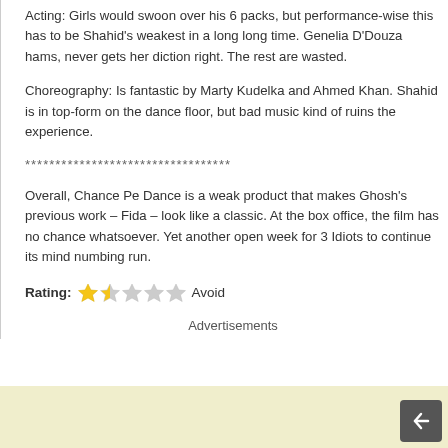Acting: Girls would swoon over his 6 packs, but performance-wise this has to be Shahid's weakest in a long long time. Genelia D'Douza hams, never gets her diction right. The rest are wasted.
Choreography: Is fantastic by Marty Kudelka and Ahmed Khan. Shahid is in top-form on the dance floor, but bad music kind of ruins the experience.
**********************************
Overall, Chance Pe Dance is a weak product that makes Ghosh's previous work – Fida – look like a classic. At the box office, the film has no chance whatsoever. Yet another open week for 3 Idiots to continue its mind numbing run.
Rating: 1.5/5 stars — Avoid
Advertisements